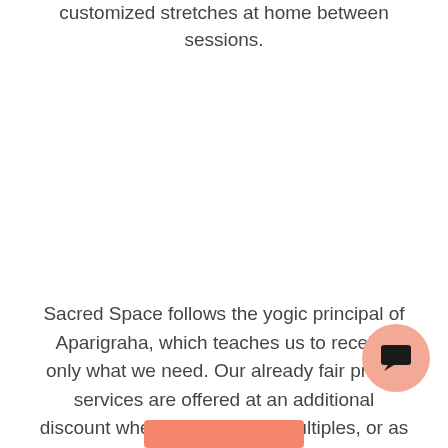customized stretches at home between sessions.
Sacred Space follows the yogic principal of Aparigraha, which teaches us to receive only what we need. Our already fair priced services are offered at an additional discount when purchased in multiples, or as seasonal specials.